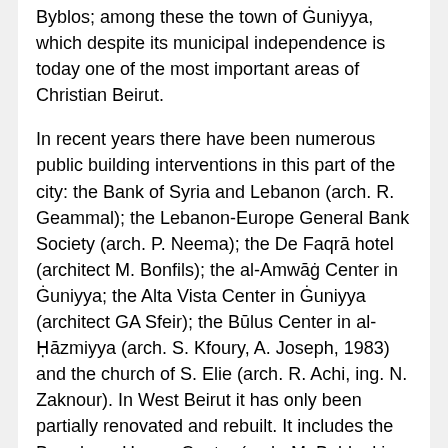Byblos; among these the town of Ġuniyya, which despite its municipal independence is today one of the most important areas of Christian Beirut.
In recent years there have been numerous public building interventions in this part of the city: the Bank of Syria and Lebanon (arch. R. Geammal); the Lebanon-Europe General Bank Society (arch. P. Neema); the De Faqrā hotel (architect M. Bonfils); the al-Amwāġ Center in Ġuniyya; the Alta Vista Center in Ġuniyya (architect GA Sfeir); the Būlus Center in al-Ḥāzmiyya (arch. S. Kfoury, A. Joseph, 1983) and the church of S. Elie (arch. R. Achi, ing. N. Zaknour). In West Beirut it has only been partially renovated and rebuilt. It includes the Broadway-Hamra Center (arch. M. Baldoukian, 1980); the Riyāḍ shopping center (arch. Ḥatīb and ʿAlāmih, 1982); and the Mosque (arch. N. Tabbara, AM Daouk). As for the historic city center, since the early 1980s, the Saudi foundation Society Oger Liban has stood out for its commitment to the restoration of buildings damaged by the war, carrying out a particular restoration work in old Beirut. In addition to this, the same Society has completed numerous other interventions in the country, such as the al-